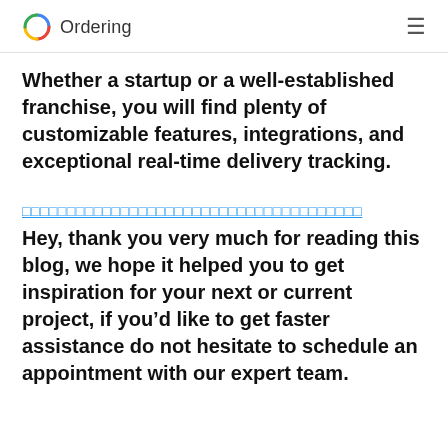Ordering
Whether a startup or a well-established franchise, you will find plenty of customizable features, integrations, and exceptional real-time delivery tracking.
□□□□□□□□□□□□□□□□□□□□□□□□□□□□□□□□□□□□□□
Hey, thank you very much for reading this blog, we hope it helped you to get inspiration for your next or current project, if you’d like to get faster assistance do not hesitate to schedule an appointment with our expert team.